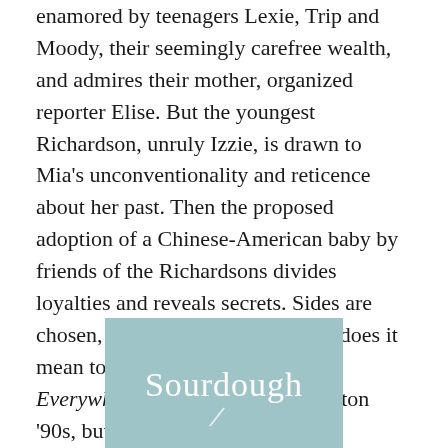enamored by teenagers Lexie, Trip and Moody, their seemingly carefree wealth, and admires their mother, organized reporter Elise. But the youngest Richardson, unruly Izzie, is drawn to Mia's unconventionality and reticence about her past. Then the proposed adoption of a Chinese-American baby by friends of the Richardsons divides loyalties and reveals secrets. Sides are chosen, boundaries crossed. What does it mean to be a mother? Little Fires Everywhere takes place in the Clinton '90s, but the issues it raises and the emotions it evokes are timely and timeless.
[Figure (illustration): Book cover image showing the word 'Sourdough' in white text on a muted teal/blue-gray background, partially visible, cropped at the bottom of the page.]